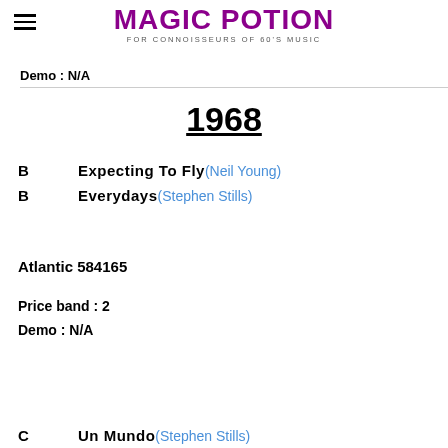MAGIC POTION — FOR CONNOISSEURS OF 60'S MUSIC
Demo : N/A
1968
B   Expecting To Fly (Neil Young)
B   Everydays (Stephen Stills)
Atlantic 584165
Price band : 2
Demo : N/A
C   Un Mundo (Stephen Stills)